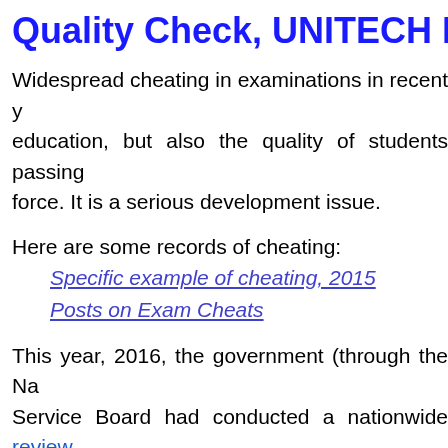Quality Check, UNITECH Is
Widespread cheating in examinations in recent years not only affects education, but also the quality of students passing out into the work force. It is a serious development issue.
Here are some records of cheating:
Specific example of cheating, 2015
Posts on Exam Cheats
This year, 2016, the government (through the National Matriculation Service Board had conducted a nationwide review to identify loop holes and recommend ways to stop students cheating and getting away with it. Have the measures MSB took to stop cheating worked?
The National Newspaper reported Asareba Secondary School students bought exam answer sheets, only to have realised after the exams that